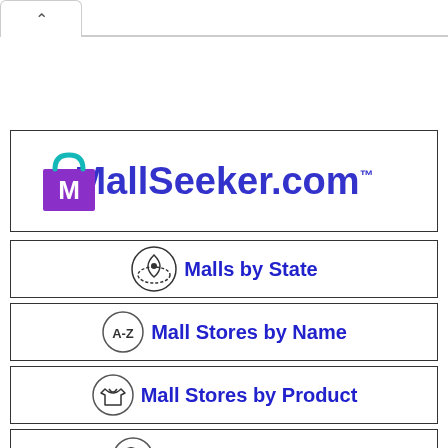[Figure (screenshot): Browser tab with up caret chevron indicating open tab]
[Figure (logo): MallSeeker.com logo with purple M shopping bag icon and blue MallSeeker.com text]
Malls by State
Mall Stores by Name
Mall Stores by Product
Search MallSeeker
X hide menu